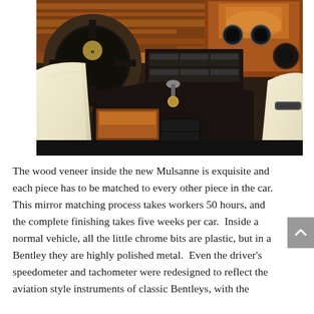[Figure (photo): Interior of a Bentley Mulsanne showing the luxury dashboard with wood veneer trim, leather seats in cream/beige, steering wheel with Bentley logo, center console with gear shifter, and infotainment controls.]
The wood veneer inside the new Mulsanne is exquisite and each piece has to be matched to every other piece in the car.  This mirror matching process takes workers 50 hours, and the complete finishing takes five weeks per car.  Inside a normal vehicle, all the little chrome bits are plastic, but in a Bentley they are highly polished metal.  Even the driver's speedometer and tachometer were redesigned to reflect the aviation style instruments of classic Bentleys, with the